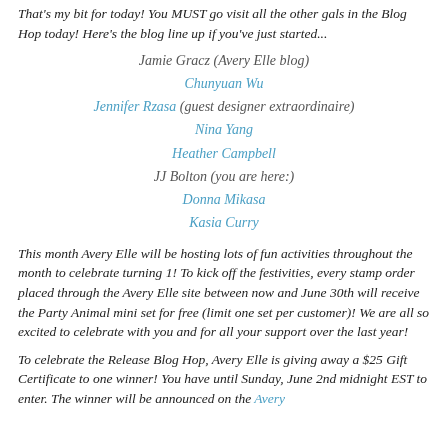That's my bit for today!  You MUST go visit all the other gals in the Blog Hop today!  Here's the blog line up if you've just started...
Jamie Gracz (Avery Elle blog)
Chunyuan Wu
Jennifer Rzasa (guest designer extraordinaire)
Nina Yang
Heather Campbell
JJ Bolton (you are here:)
Donna Mikasa
Kasia Curry
This month Avery Elle will be hosting lots of fun activities throughout the month to celebrate turning 1!  To kick off the festivities, every stamp order placed through the Avery Elle site between now and June 30th will receive the Party Animal mini set for free (limit one set per customer)!  We are all so excited to celebrate with you and for all your support over the last year!
To celebrate the Release Blog Hop, Avery Elle is giving away a $25 Gift Certificate to one winner!  You have until Sunday, June 2nd midnight EST to enter.  The winner will be announced on the Avery